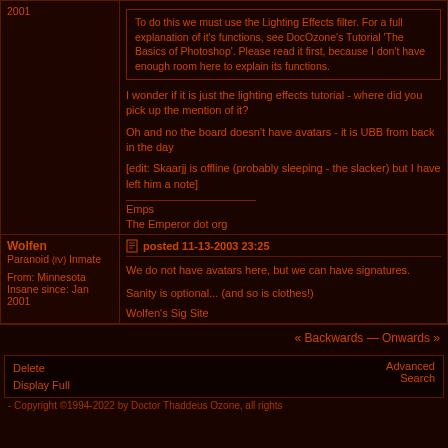2001
To do this we must use the Lighting Effects filter. For a full explanation of it's functions, see DocOzone's Tutorial 'The Basics of Photoshop'. Please read it first, because I don't have enough room here to explain its functions.
I wonder if it is just the lighting effects tutorial - where did you pick up the mention of it?
Oh and no the board doesn't have avatars - it is UBB from back in the day
[edit: Skaarjj is offline (probably sleeping - the slacker) but I have left him a note]
Emps
The Emperor dot org
Wolfen
Paranoid (IV) Inmate
From: Minnesota
Insane since: Jan 2001
posted 11-13-2003 23:25
We do not have avatars here, but we can have signatures.
Sanity is optional... (and so is clothes!)
Wolfen's Sig Site
« Backwards — Onwards »
Delete
Display Full
Advanced Search
- Copyright ©1994-2022 by Doctor Thaddeus Ozone, all rights